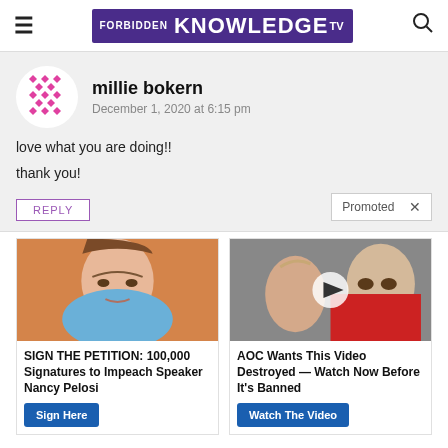Forbidden Knowledge TV
millie bokern
December 1, 2020 at 6:15 pm
love what you are doing!!
thank you!
Promoted ×
[Figure (photo): Photo of Nancy Pelosi with orange background]
SIGN THE PETITION: 100,000 Signatures to Impeach Speaker Nancy Pelosi
Sign Here
[Figure (photo): Photo of Melania Trump and Donald Trump with play button overlay]
AOC Wants This Video Destroyed — Watch Now Before It's Banned
Watch The Video